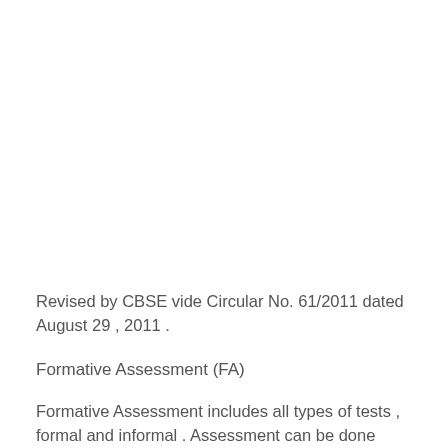Revised by CBSE vide Circular No. 61/2011 dated August 29 , 2011 .
Formative Assessment (FA)
Formative Assessment includes all types of tests , formal and informal . Assessment can be done during